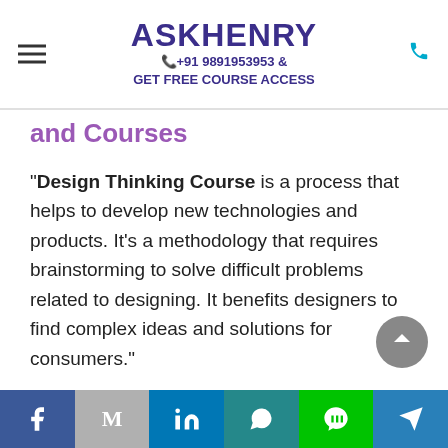ASKHENRY +91 9891953953 & GET FREE COURSE ACCESS
and Courses
"Design Thinking Course is a process that helps to develop new technologies and products. It's a methodology that requires brainstorming to solve difficult problems related to designing. It benefits designers to find complex ideas and solutions for consumers."
Design Thinking Course in Bangalore  processes are substantially used in education sectors, financial service, health and wellness sectors, and
Facebook | Gmail | LinkedIn | WhatsApp | LINE | Send